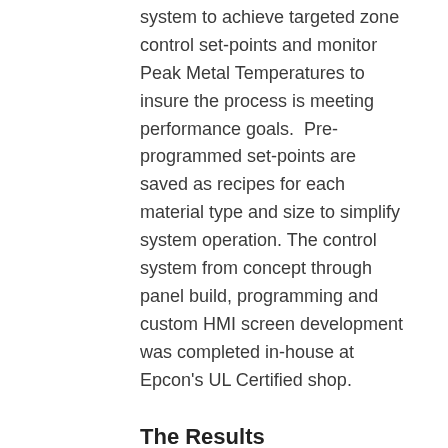system to achieve targeted zone control set-points and monitor Peak Metal Temperatures to insure the process is meeting performance goals.  Pre-programmed set-points are saved as recipes for each material type and size to simplify system operation. The control system from concept through panel build, programming and custom HMI screen development was completed in-house at Epcon's UL Certified shop.
The Results
The utlimate success of the line was the ability to achieve edge to edge temperature uniformities within such tight 3+/- margins. Equally as important, the oven's